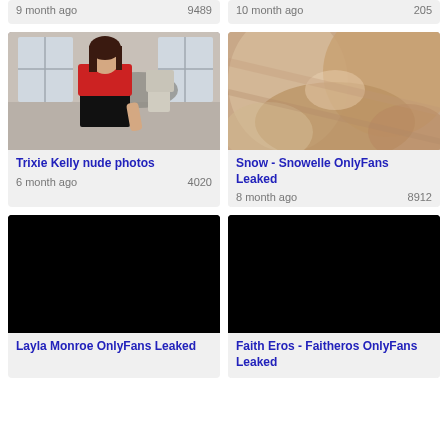9 month ago   9489
10 month ago   205
[Figure (photo): Woman in red top and black skirt sitting at a glass dining table]
Trixie Kelly nude photos
6 month ago   4020
[Figure (photo): Close-up blurred photo]
Snow - Snowelle OnlyFans Leaked
8 month ago   8912
[Figure (photo): Black redacted image]
Layla Monroe OnlyFans Leaked
[Figure (photo): Black redacted image]
Faith Eros - Faitheros OnlyFans Leaked